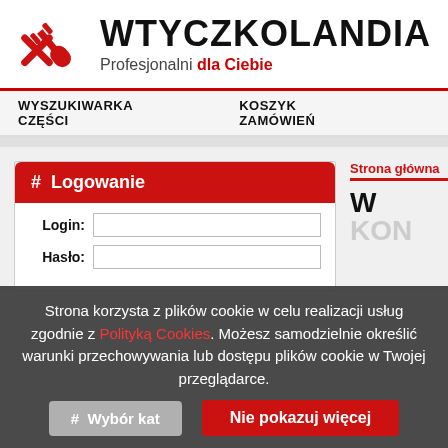[Figure (logo): Wtyczkolandia logo: red electrical plug icon on the left, bold black text WTYCZKOLANDIA, subtitle Profesjonalni dla Ciebie with 'dla Ciebie' in red]
WYSZUKIWARKA CZĘŚCI   KOSZYK ZAMÓWIEŃ
# Logowanie
Login:
Hasło:
Strona główna
W... KON...
Strona korzysta z plików cookie w celu realizacji usług zgodnie z Polityką Cookies. Możesz samodzielnie określić warunki przechowywania lub dostępu plików cookie w Twojej przeglądarce.
Nie pokazuj więcej
# Wybór kat...